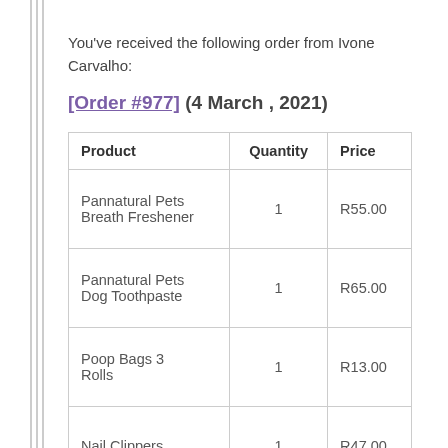You've received the following order from Ivone Carvalho:
[Order #977] (4 March , 2021)
| Product | Quantity | Price |
| --- | --- | --- |
| Pannatural Pets Breath Freshener | 1 | R55.00 |
| Pannatural Pets Dog Toothpaste | 1 | R65.00 |
| Poop Bags 3 Rolls | 1 | R13.00 |
| Nail Clippers | 1 | R47.00 |